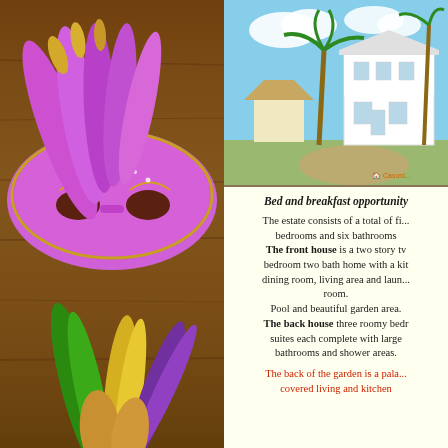[Figure (photo): Mardi Gras mask with colorful feathers (purple, green, yellow) on a wooden background]
[Figure (photo): Two-story white house with palm trees and tropical garden]
Bed and breakfast opportunity
The estate consists of a total of five bedrooms and six bathrooms. The front house is a two story two bedroom two bath home with a kitchen, dining room, living area and laundry room. Pool and beautiful garden area. The back house three roomy bedroom suites each complete with large bathrooms and shower areas.
The back of the garden is a palapa covered living and kitchen